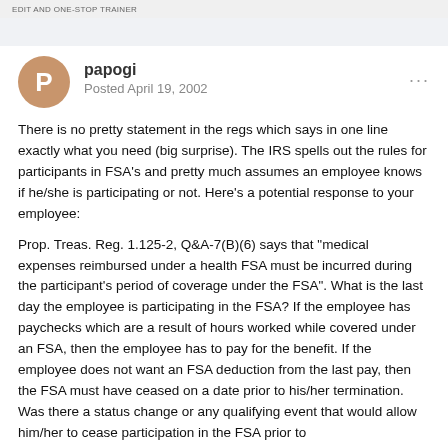EDIT AND ONE-STOP TRAINER
papogi
Posted April 19, 2002
There is no pretty statement in the regs which says in one line exactly what you need (big surprise). The IRS spells out the rules for participants in FSA's and pretty much assumes an employee knows if he/she is participating or not. Here's a potential response to your employee:
Prop. Treas. Reg. 1.125-2, Q&A-7(B)(6) says that "medical expenses reimbursed under a health FSA must be incurred during the participant's period of coverage under the FSA". What is the last day the employee is participating in the FSA? If the employee has paychecks which are a result of hours worked while covered under an FSA, then the employee has to pay for the benefit. If the employee does not want an FSA deduction from the last pay, then the FSA must have ceased on a date prior to his/her termination. Was there a status change or any qualifying event that would allow him/her to cease participation in the FSA prior to